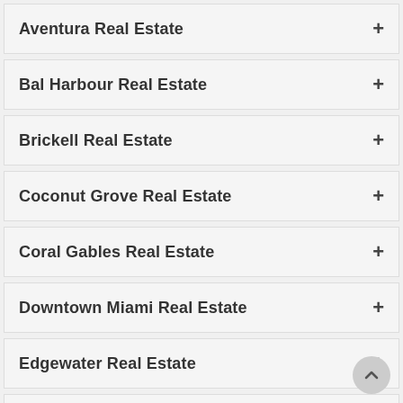Aventura Real Estate
Bal Harbour Real Estate
Brickell Real Estate
Coconut Grove Real Estate
Coral Gables Real Estate
Downtown Miami Real Estate
Edgewater Real Estate
Fisher Island Real Estate